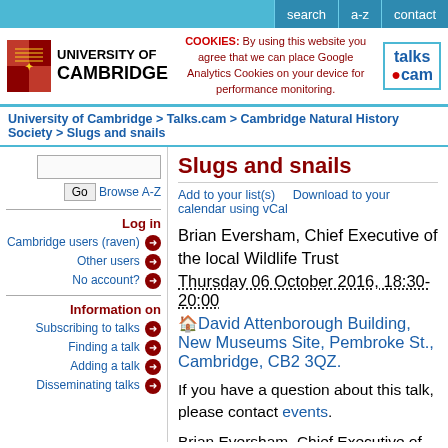search | a-z | contact
[Figure (logo): University of Cambridge logo with shield and text, cookies notice, and talks.cam logo]
University of Cambridge > Talks.cam > Cambridge Natural History Society > Slugs and snails
Slugs and snails
Add to your list(s)    Download to your calendar using vCal
Brian Eversham, Chief Executive of the local Wildlife Trust
Thursday 06 October 2016, 18:30-20:00
David Attenborough Building, New Museums Site, Pembroke St., Cambridge, CB2 3QZ.
If you have a question about this talk, please contact events.
Brian Eversham, Chief Executive of the local Wildlife Trust, will talk